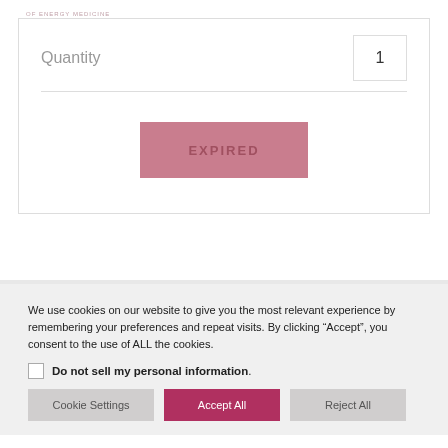OF ENERGY MEDICINE
| Quantity |  |
| --- | --- |
| Quantity | 1 |
EXPIRED
We use cookies on our website to give you the most relevant experience by remembering your preferences and repeat visits. By clicking “Accept”, you consent to the use of ALL the cookies.
Do not sell my personal information.
Cookie Settings   Accept All   Reject All